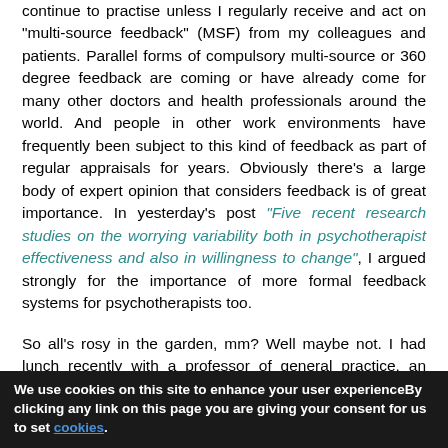continue to practise unless I regularly receive and act on "multi-source feedback" (MSF) from my colleagues and patients. Parallel forms of compulsory multi-source or 360 degree feedback are coming or have already come for many other doctors and health professionals around the world.  And people in other work environments have frequently been subject to this kind of feedback as part of regular appraisals for years.  Obviously there's a large body of expert opinion that considers feedback is of great importance.  In yesterday's post "Five recent research studies on the worrying variability both in psychotherapist effectiveness and also in willingness to change", I argued strongly for the importance of more formal feedback systems for psychotherapists too.

So all's rosy in the garden, mm?  Well maybe not.  I had lunch recently with a professor of general practice, an expert in primary health care in this country, and they certainly weren't raving about how multi-source feedback was going to be of definite benefit to doctors.  I'm confident it could be of real
We use cookies on this site to enhance your user experienceBy clicking any link on this page you are giving your consent for us to set cookies.